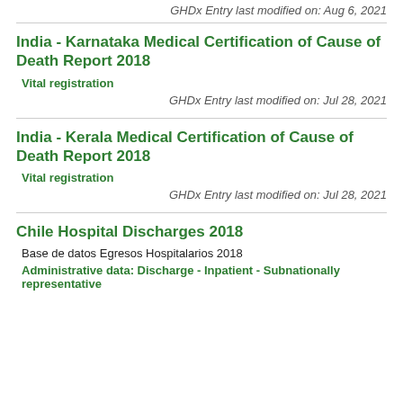GHDx Entry last modified on: Aug 6, 2021
India - Karnataka Medical Certification of Cause of Death Report 2018
Vital registration
GHDx Entry last modified on: Jul 28, 2021
India - Kerala Medical Certification of Cause of Death Report 2018
Vital registration
GHDx Entry last modified on: Jul 28, 2021
Chile Hospital Discharges 2018
Base de datos Egresos Hospitalarios 2018
Administrative data: Discharge - Inpatient - Subnationally representative